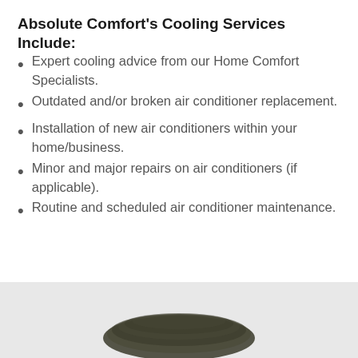Absolute Comfort's Cooling Services Include:
Expert cooling advice from our Home Comfort Specialists.
Outdated and/or broken air conditioner replacement.
Installation of new air conditioners within your home/business.
Minor and major repairs on air conditioners (if applicable).
Routine and scheduled air conditioner maintenance.
[Figure (other): Black rounded rectangle button with bold white text reading LEARN MORE, and a grey scroll-to-top button with an upward caret arrow on the right side]
[Figure (photo): Partial photo of a dark green/black air conditioner coil unit visible at the bottom of the page]